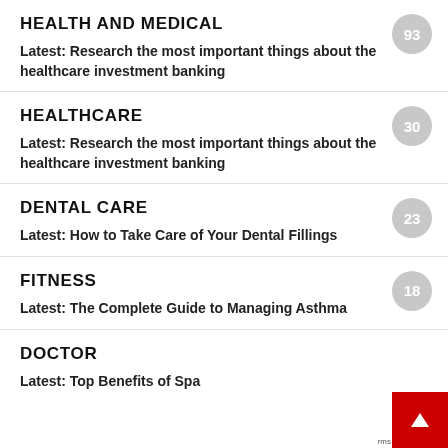HEALTH AND MEDICAL
Latest: Research the most important things about the healthcare investment banking
HEALTHCARE
Latest: Research the most important things about the healthcare investment banking
DENTAL CARE
Latest: How to Take Care of Your Dental Fillings
FITNESS
Latest: The Complete Guide to Managing Asthma
DOCTOR
Latest: Top Benefits of Spa